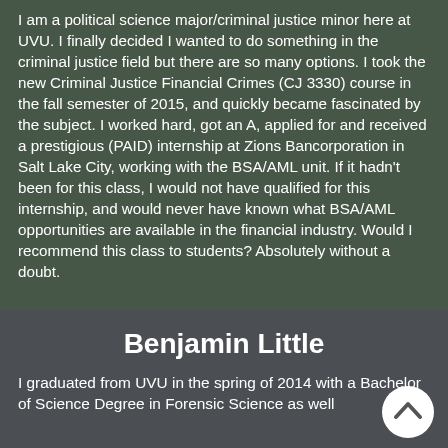I am a political science major/criminal justice minor here at UVU. I finally decided I wanted to do something in the criminal justice field but there are so many options. I took the new Criminal Justice Financial Crimes (CJ 3330) course in the fall semester of 2015, and quickly became fascinated by the subject. I worked hard, got an A, applied for and received a prestigious (PAID) internship at Zions Bancorporation in Salt Lake City, working with the BSA/AML unit. If it hadn't been for this class, I would not have qualified for this internship, and would never have known what BSA/AML opportunities are available in the financial industry. Would I recommend this class to students? Absolutely without a doubt.
Benjamin Little
I graduated from UVU in the spring of 2014 with a Bachelor of Science Degree in Forensic Science as well